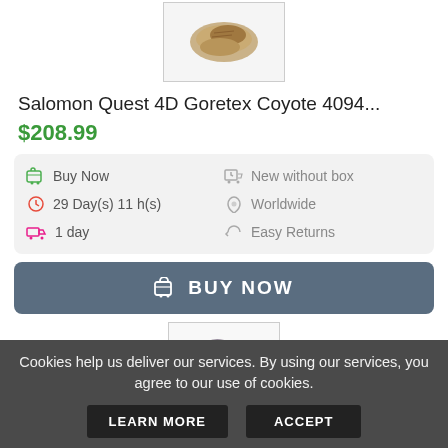[Figure (photo): Partial view of brown/tan Salomon boot shoe at top of page]
Salomon Quest 4D Goretex Coyote 4094...
$208.99
| Buy Now | New without box |
| 29 Day(s) 11 h(s) | Worldwide |
| 1 day | Easy Returns |
BUY NOW
[Figure (photo): Partial view of dark grey/purple hiking boot at bottom of page]
Cookies help us deliver our services. By using our services, you agree to our use of cookies.
LEARN MORE
ACCEPT